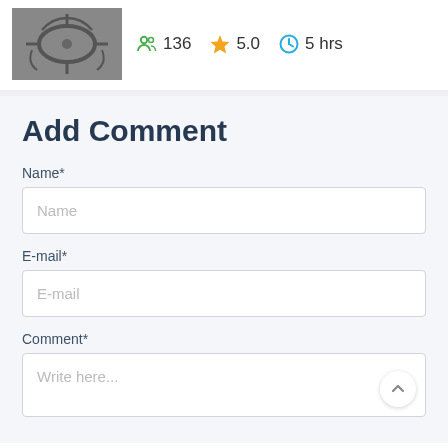[Figure (photo): Thumbnail image of a vehicle steering wheel / dashboard, black and white]
136  5.0  5 hrs
Add Comment
Name*
Name
E-mail*
E-mail
Comment*
Write here...